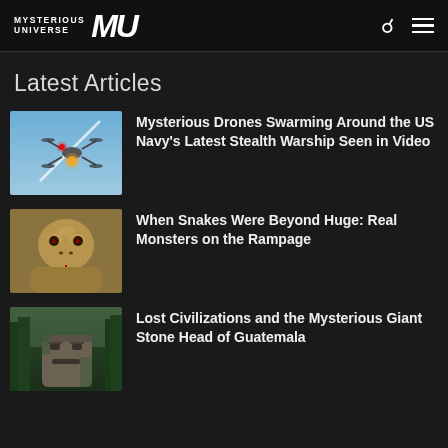MYSTERIOUS UNIVERSE MU
Latest Articles
[Figure (photo): A drone with glowing red and yellow lights against a blue sky with a contrail]
Mysterious Drones Swarming Around the US Navy’s Latest Stealth Warship Seen in Video
[Figure (photo): Close-up of a snake's face with tongue out]
When Snakes Were Beyond Huge: Real Monsters on the Rampage
[Figure (photo): A stone head sculpture in a jungle forest setting]
Lost Civilizations and the Mysterious Giant Stone Head of Guatemala